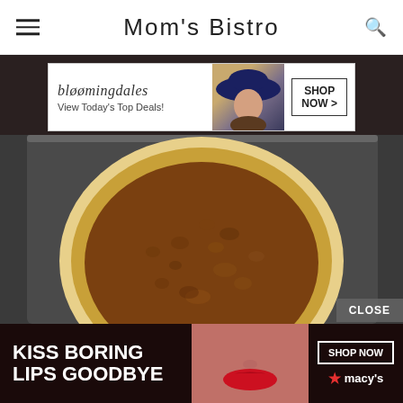Mom's Bistro
[Figure (photo): Bloomingdale's advertisement banner: logo, 'View Today's Top Deals!', woman in hat, SHOP NOW button]
[Figure (photo): An unbaked pie with fluted pastry crust filled with a caramel/pecan-style filling, sitting on a baking tray on a dark countertop]
CLOSE
[Figure (photo): Macy's advertisement banner: 'KISS BORING LIPS GOODBYE', woman's face with red lips, SHOP NOW button, Macy's star logo]